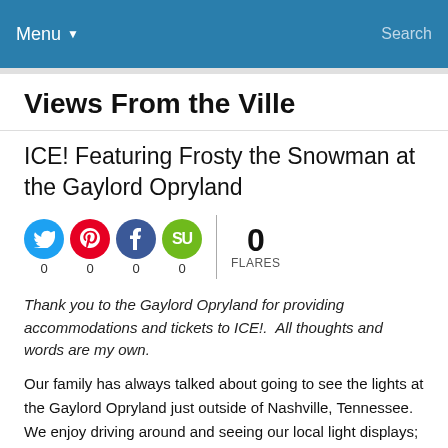Menu  Search
Views From the Ville
ICE! Featuring Frosty the Snowman at the Gaylord Opryland
0 FLARES  0  0  0  0
Thank you to the Gaylord Opryland for providing accommodations and tickets to ICE!.  All thoughts and words are my own.
Our family has always talked about going to see the lights at the Gaylord Opryland just outside of Nashville, Tennessee.  We enjoy driving around and seeing our local light displays; we even once visited a display set to music.  And the Gaylord Opryland also has other fun holiday events, like a Shrek Holiday Feast, ICE! Featuring Frosty the Snowman, shops, a nativity, and more.